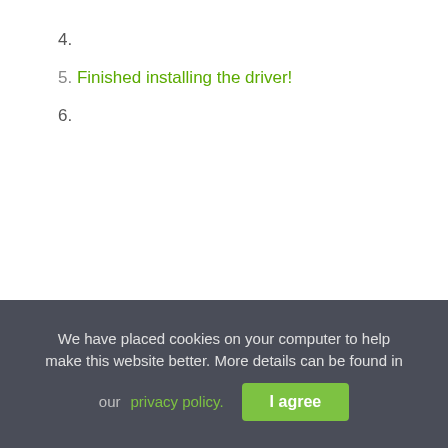4.
5. Finished installing the driver!
6.
We have placed cookies on your computer to help make this website better. More details can be found in our privacy policy.